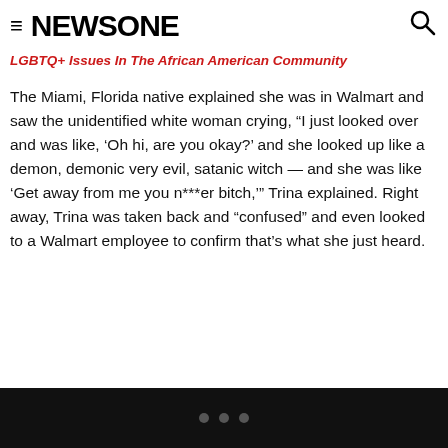NEWSONE
LGBTQ+ Issues In The African American Community
The Miami, Florida native explained she was in Walmart and saw the unidentified white woman crying, “I just looked over and was like, ‘Oh hi, are you okay?’ and she looked up like a demon, demonic very evil, satanic witch — and she was like ‘Get away from me you n***er bitch,’” Trina explained. Right away, Trina was taken back and “confused” and even looked to a Walmart employee to confirm that’s what she just heard.
• • •